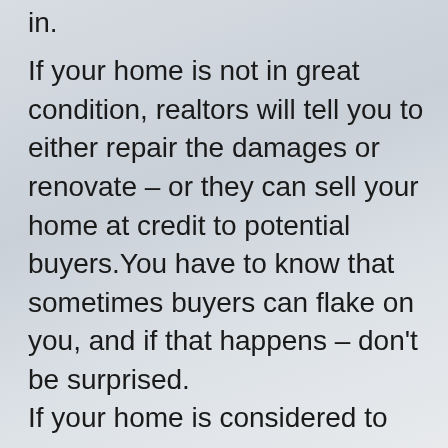in.
If your home is not in great condition, realtors will tell you to either repair the damages or renovate – or they can sell your home at credit to potential buyers.You have to know that sometimes buyers can flake on you, and if that happens – don't be surprised.
If your home is considered to